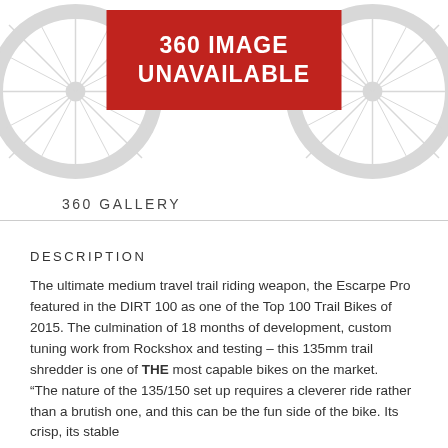[Figure (photo): 360 degree image unavailable placeholder — shows two white bicycle wheels partially visible on left and right, with a red banner in the center reading '360 IMAGE UNAVAILABLE']
360 GALLERY
DESCRIPTION
The ultimate medium travel trail riding weapon, the Escarpe Pro featured in the DIRT 100 as one of the Top 100 Trail Bikes of 2015. The culmination of 18 months of development, custom tuning work from Rockshox and testing – this 135mm trail shredder is one of THE most capable bikes on the market. “The nature of the 135/150 set up requires a cleverer ride rather than a brutish one, and this can be the fun side of the bike. Its crisp, its stable